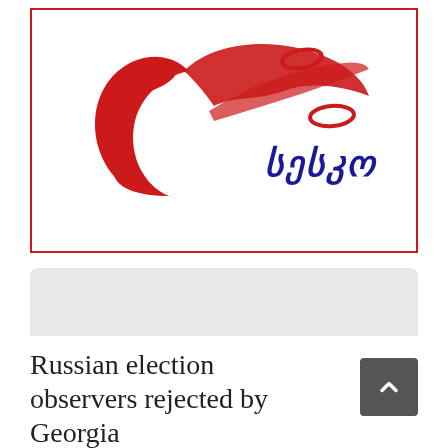[Figure (logo): SAITO (Georgian Central Election Commission) logo — red swirling abstract design with small oval shapes and Georgian text 'სესკო' in blue italic letters, inside a red-bordered rectangle]
Russian election observers rejected by Georgia